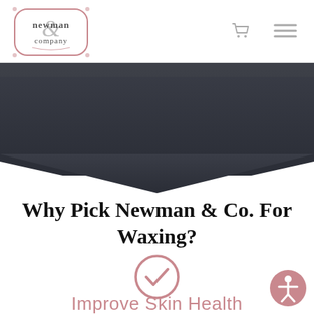[Figure (logo): Newman & Company logo — ornate border with ampersand and cursive text]
[Figure (illustration): Dark charcoal/navy gradient banner with downward chevron point at bottom center]
Why Pick Newman & Co. For Waxing?
[Figure (illustration): Pink circle with checkmark icon]
Improve Skin Health